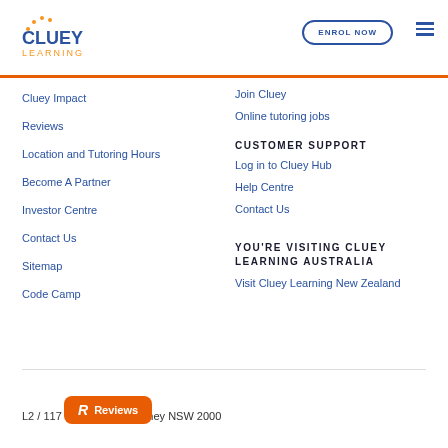Cluey Learning | ENROL NOW
Cluey Impact
Reviews
Location and Tutoring Hours
Become A Partner
Investor Centre
Contact Us
Sitemap
Code Camp
Join Cluey
Online tutoring jobs
CUSTOMER SUPPORT
Log in to Cluey Hub
Help Centre
Contact Us
YOU'RE VISITING CLUEY LEARNING AUSTRALIA
Visit Cluey Learning New Zealand
L2 / 117 Clarence St, Sydney NSW 2000